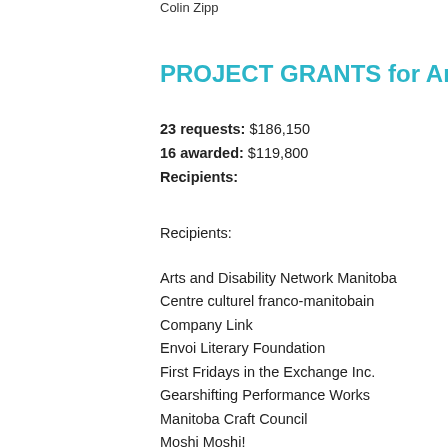Colin Zipp
PROJECT GRANTS for Arts Organiz…
23 requests: $186,150
16 awarded: $119,800
Recipients:
Recipients:
Arts and Disability Network Manitoba
Centre culturel franco-manitobain
Company Link
Envoi Literary Foundation
First Fridays in the Exchange Inc.
Gearshifting Performance Works
Manitoba Craft Council
Moshi Moshi!
RAW: Gallery of Architecture and Design
Royal Canadian College of Organists - Winnipeg Cen…
…